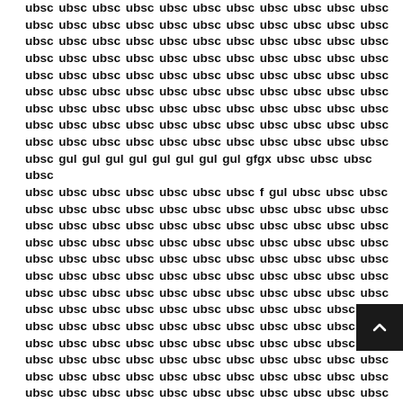ubsc ubsc ubsc ubsc ubsc ubsc ubsc ubsc ubsc ubsc ubsc ubsc ubsc ubsc ubsc ubsc ubsc ubsc ubsc ubsc ubsc ubsc ubsc ubsc ubsc ubsc ubsc ubsc ubsc ubsc ubsc ubsc ubsc ubsc ubsc ubsc ubsc ubsc ubsc ubsc ubsc ubsc ubsc ubsc ubsc ubsc ubsc ubsc ubsc ubsc ubsc ubsc ubsc ubsc ubsc ubsc ubsc ubsc ubsc ubsc ubsc ubsc ubsc ubsc ubsc ubsc ubsc ubsc ubsc ubsc ubsc ubsc ubsc ubsc ubsc ubsc ubsc ubsc ubsc ubsc ubsc ubsc ubsc ubsc ubsc ubsc ubsc ubsc ubsc ubsc ubsc ubsc ubsc ubsc ubsc ubsc ubsc ubsc ubsc ubsc ubsc gul gul gul gul gul gul gul gul gfgx ubsc ubsc ubsc ubsc ubsc ubsc ubsc ubsc ubsc ubsc ubsc ubsc ubsc f gul ubsc ubsc ubsc ubsc ubsc ubsc ubsc ubsc ubsc ubsc ubsc ubsc ubsc ubsc ubsc ubsc ubsc ubsc ubsc ubsc ubsc ubsc ubsc ubsc ubsc ubsc ubsc ubsc ubsc ubsc ubsc ubsc ubsc ubsc ubsc ubsc ubsc ubsc ubsc ubsc ubsc ubsc ubsc ubsc ubsc ubsc ubsc ubsc ubsc ubsc ubsc ubsc ubsc ubsc ubsc ubsc ubsc ubsc ubsc ubsc ubsc ubsc ubsc ubsc ubsc ubsc ubsc ubsc ubsc ubsc ubsc ubsc ubsc ubsc ubsc ubsc ubsc ubsc ubsc ubsc ubsc ubsc ubsc ubsc ubsc ubsc ubsc ubsc ubsc ubsc ubsc ubsc ubsc ubsc ubsc ubsc ubsc ubsc ubsc ubsc ubsc ubsc ubsc ubsc ubsc ubsc ubsc ubsc ubsc ubsc ubsc ubsc ubsc ubsc ubsc ubsc ubsc ubsc ubsc ubsc ubsc ubsc ubsc ubsc ubsc ubsc ubsc ubsc ubsc ubsc ubsc ubsc ubsc ubsc ubsc ubsc ubsc ubsc ubsc ubsc ubsc ubsc ubsc ubsc ubsc ubsc ubsc ubsc ubsc ubsc ubsc ubsc ubsc ubsc ubsc ubsc ubsc ubsc ubsc ubsc ubsc ubsc ubsc ubsc ubsc ubsc ubsc ubsc ubsc ubsc ubsc ubsc ubsc ubsc ubsc ubsc ubsc ubsc ubsc ubsc ubsc ubsc ubsc ubsc ubsc ubsc ubsc ubsc ubsc ubsc ubsc ubsc ubsc ubsc ubsc ubsc ubsc ubsc ubsc ubsc ubsc ubsc ubsc ubsc ubsc ubsc ubsc ubsc ubsc ubsc ubsc ubsc